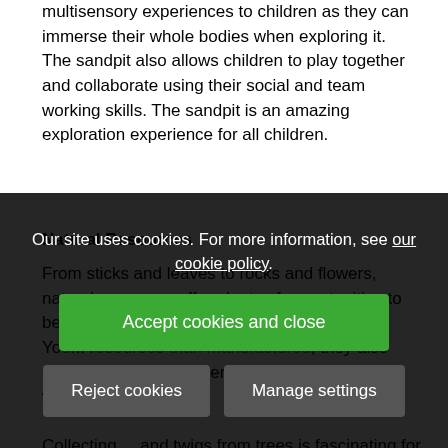multisensory experiences to children as they can immerse their whole bodies when exploring it. The sandpit also allows children to play together and collaborate using their social and team working skills. The sandpit is an amazing exploration experience for all children.
Natural Resources
From sticks and leaves to rocks and flowers, natural resources offer plenty of opportunities to be used in many different ways. You... resources than manufactured, they also allow your child to understand more about the world we live in. Collecting... and twigs from trees is fascinating for your child. Build a den from twigs and branches... little pigs from the story. Would your den be strong enough to
Our site uses cookies. For more information, see our cookie policy.
Accept cookies and close
Reject cookies
Manage settings